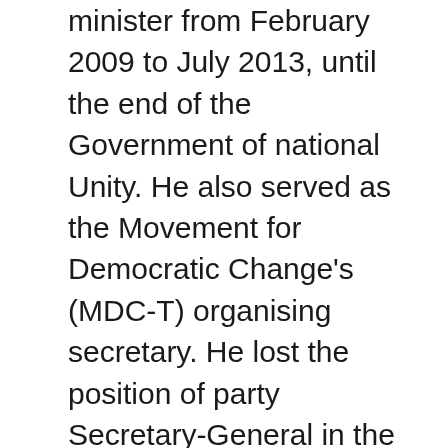minister from February 2009 to July 2013, until the end of the Government of national Unity. He also served as the Movement for Democratic Change's (MDC-T) organising secretary. He lost the position of party Secretary-General in the party's 2014 Congress to Douglas Mwonzora. Chamisa has been accused of barring other youth and student leaders from having closer access to party president Tsvangirai, a move allegedly meant to protect his position.